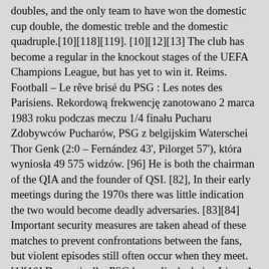doubles, and the only team to have won the domestic cup double, the domestic treble and the domestic quadruple.[10][118][119]. [10][12][13] The club has become a regular in the knockout stages of the UEFA Champions League, but has yet to win it. Reims. Football – Le rêve brisé du PSG : Les notes des Parisiens. Rekordową frekwencję zanotowano 2 marca 1983 roku podczas meczu 1/4 finału Pucharu Zdobywców Pucharów, PSG z belgijskim Waterschei Thor Genk (2:0 – Fernández 43', Pilorget 57'), która wyniosła 49 575 widzów. [96] He is both the chairman of the QIA and the founder of QSI. [82], In their early meetings during the 1970s there was little indication the two would become deadly adversaries. [83][84] Important security measures are taken ahead of these matches to prevent confrontations between the fans, but violent episodes still often occur when they meet. [1][10] Domestically, PSG have clinched nine Ligue 1 championships, a record thirteen Coupe de France, a record nine Coupe de la Ligue, a record nine Trophée des Champions and one Ligue 2 title. [77] Grouped in the Auteuil end of the stadium, the CUP currently is the only ultra association officially recognized by PSG. Rhoncus dolor purus non enim praesent elementum facilisis leo vel. An initiative of historical PSG leader and music producer Charles Talar, he produced and released it under his homonym record label. Klub zdołał osiągnąć półfinał tych rozgrywek, kiedy po